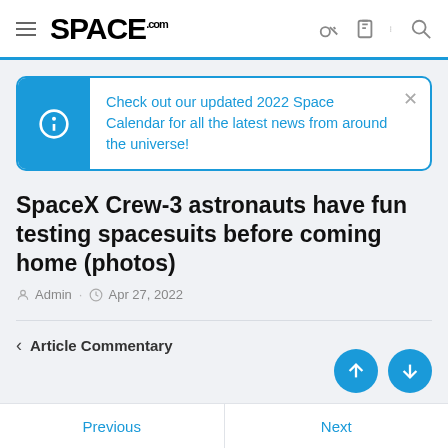SPACE.com
Check out our updated 2022 Space Calendar for all the latest news from around the universe!
SpaceX Crew-3 astronauts have fun testing spacesuits before coming home (photos)
Admin · Apr 27, 2022
< Article Commentary